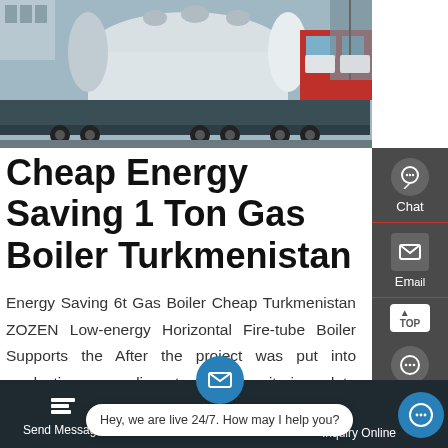[Figure (photo): Large industrial boiler or pressure vessel being transported on a flatbed truck/trailer in an outdoor yard. Boiler is cylindrical and white/grey. Red trucks visible in background.]
Cheap Energy Saving 1 Ton Gas Boiler Turkmenistan
Energy Saving 6t Gas Boiler Cheap Turkmenistan ZOZEN Low-energy Horizontal Fire-tube Boiler Supports the After the project was put into production according to the monitoring data ZOZEN -fired produced 1682 tons of steam and consumed 114700 Nm 3 of natural in one month to say the actual consumption per ton of steam was only 682 m 3 Compared with similar products in the market the